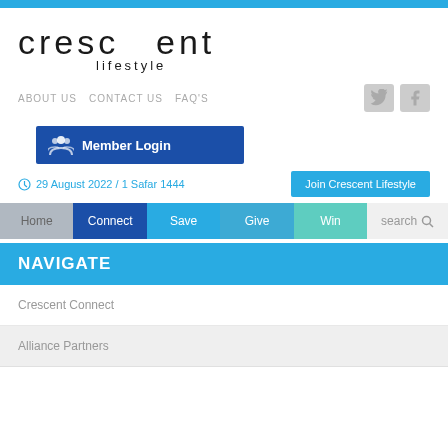[Figure (logo): Crescent Lifestyle logo with crescent moon mark in blue and lowercase text 'crescent lifestyle']
ABOUT US   CONTACT US   FAQ's
Member Login
29 August 2022 / 1 Safar 1444
Join Crescent Lifestyle
Home   Connect   Save   Give   Win   search
NAVIGATE
Crescent Connect
Alliance Partners